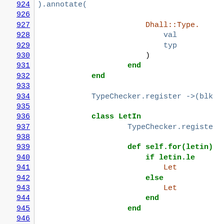[Figure (screenshot): Source code viewer showing Ruby code lines 924-946 with line numbers on left as blue underlined links, and syntax-highlighted code on the right. Keywords in green/bold, method names in teal/dark-red, class names in dark-red.]